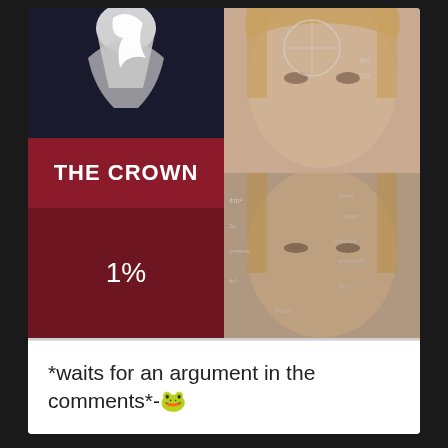[Figure (photo): Meme image split in two halves: left side shows 'THE CROWN' title card on a dark red Netflix-style loading screen showing '1%' progress; right side shows two panels of the 'woman calculating / math lady' meme with math equations overlaid on a woman's face.]
*waits for an argument in the comments*-🐸
3